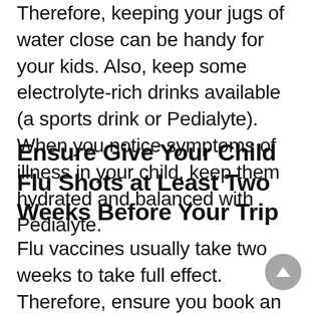Therefore, keeping your jugs of water close can be handy for your kids. Also, keep some electrolyte-rich drinks available (a sports drink or Pedialyte). When you notice symptoms of illness in your child, keep them hydrated and balanced with Pedialyte.
Ensure Give Your Child Flu Shots at Least Two Weeks Before Your Trip
Flu vaccines usually take two weeks to take full effect. Therefore, ensure you book an appointment with your child's pediatrician for their flu shot two weeks before your trip date. Always have a pediatrician's number...